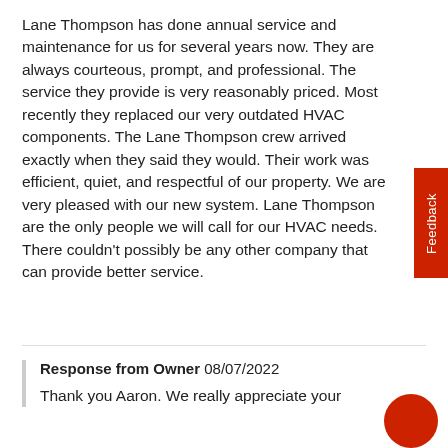Lane Thompson has done annual service and maintenance for us for several years now. They are always courteous, prompt, and professional. The service they provide is very reasonably priced. Most recently they replaced our very outdated HVAC components. The Lane Thompson crew arrived exactly when they said they would. Their work was efficient, quiet, and respectful of our property. We are very pleased with our new system. Lane Thompson are the only people we will call for our HVAC needs. There couldn't possibly be any other company that can provide better service.
Response from Owner 08/07/2022
Thank you Aaron. We really appreciate your